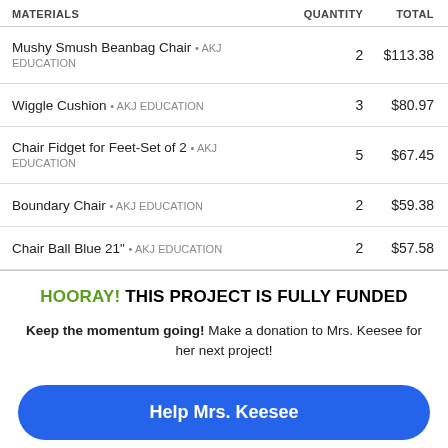| MATERIALS | QUANTITY | TOTAL |
| --- | --- | --- |
| Mushy Smush Beanbag Chair • AKJ EDUCATION | 2 | $113.38 |
| Wiggle Cushion • AKJ EDUCATION | 3 | $80.97 |
| Chair Fidget for Feet-Set of 2 • AKJ EDUCATION | 5 | $67.45 |
| Boundary Chair • AKJ EDUCATION | 2 | $59.38 |
| Chair Ball Blue 21" • AKJ EDUCATION | 2 | $57.58 |
HOORAY! THIS PROJECT IS FULLY FUNDED
Keep the momentum going! Make a donation to Mrs. Keesee for her next project!
Help Mrs. Keesee